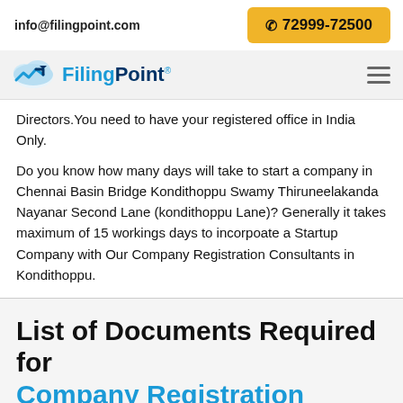info@filingpoint.com   ☎ 72999-72500
[Figure (logo): FilingPoint logo with cloud and chart icon, text reads FilingPoint]
Directors.You need to have your registered office in India Only.
Do you know how many days will take to start a company in Chennai Basin Bridge Kondithoppu Swamy Thiruneelakanda Nayanar Second Lane (kondithoppu Lane)? Generally it takes maximum of 15 workings days to incorpoate a Startup Company with Our Company Registration Consultants in Kondithoppu.
List of Documents Required for Company Registration